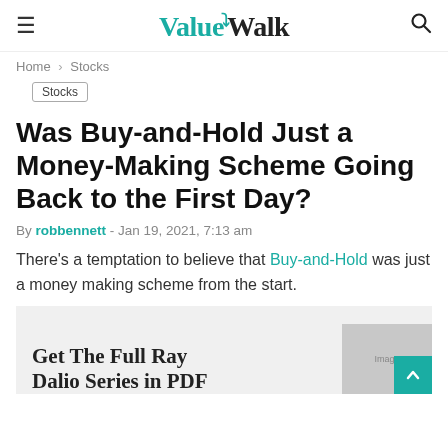ValueWalk
Home › Stocks
Stocks
Was Buy-and-Hold Just a Money-Making Scheme Going Back to the First Day?
By robbennett - Jan 19, 2021, 7:13 am
There's a temptation to believe that Buy-and-Hold was just a money making scheme from the start.
Get The Full Ray Dalio Series in PDF